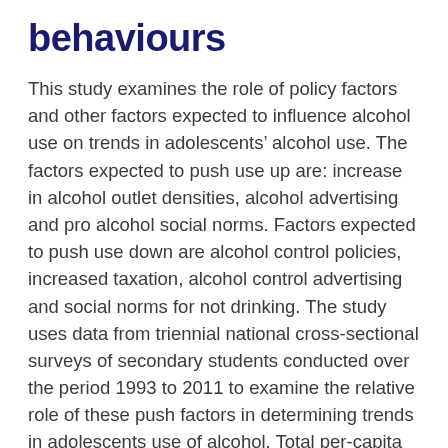behaviours
This study examines the role of policy factors and other factors expected to influence alcohol use on trends in adolescents' alcohol use. The factors expected to push use up are: increase in alcohol outlet densities, alcohol advertising and pro alcohol social norms. Factors expected to push use down are alcohol control policies, increased taxation, alcohol control advertising and social norms for not drinking. The study uses data from triennial national cross-sectional surveys of secondary students conducted over the period 1993 to 2011 to examine the relative role of these push factors in determining trends in adolescents use of alcohol. Total per-capita media impressions for alcohol related newspaper articles will